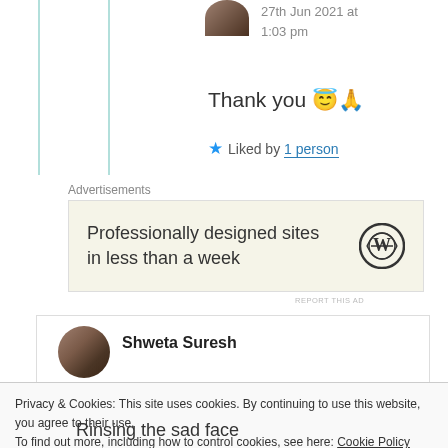27th Jun 2021 at 1:03 pm
Thank you 😇🙏
★ Liked by 1 person
Advertisements
[Figure (other): WordPress advertisement banner: 'Professionally designed sites in less than a week' with WordPress logo]
REPORT THIS AD
Shweta Suresh
Privacy & Cookies: This site uses cookies. By continuing to use this website, you agree to their use.
To find out more, including how to control cookies, see here: Cookie Policy
Close and accept
Rinsing the sad face